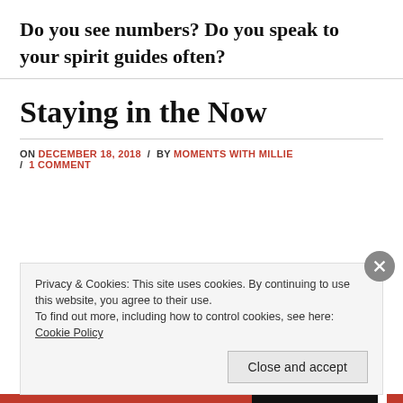Do you see numbers? Do you speak to your spirit guides often?
Staying in the Now
ON DECEMBER 18, 2018 / BY MOMENTS WITH MILLIE / 1 COMMENT
Privacy & Cookies: This site uses cookies. By continuing to use this website, you agree to their use.
To find out more, including how to control cookies, see here: Cookie Policy
Close and accept